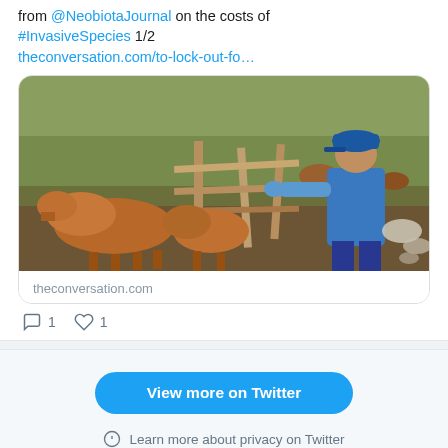from @NeobiotaJournal on the costs of #InvasiveSpecies 1/2 theconversation.com/to-lock-out-fo…
[Figure (photo): A man in blue vest and cap handling cattle through a wooden fence/pen in a rural outdoor setting]
theconversation.com
To lock out foot-and-mouth disease, Australia must help our neighbour …
1  1
View more on Twitter
Learn more about privacy on Twitter